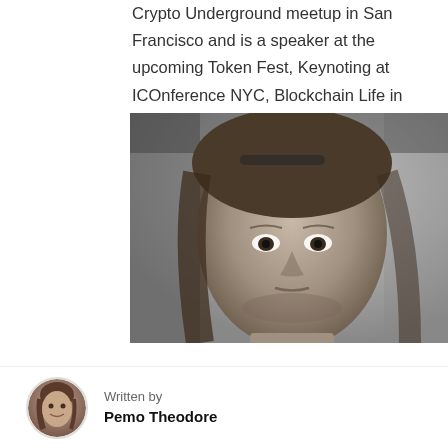Crypto Underground meetup in San Francisco and is a speaker at the upcoming Token Fest, Keynoting at ICOnference NYC, Blockchain Life in St. Petersburg Russia, Global Blockchain Summit, The Future of Money Summit, and Coin Agenda in Las Vegas.
[Figure (photo): Black and white close-up portrait photo of a middle-aged man with long hair pushed back, looking intensely at the camera.]
Written by Pemo Theodore